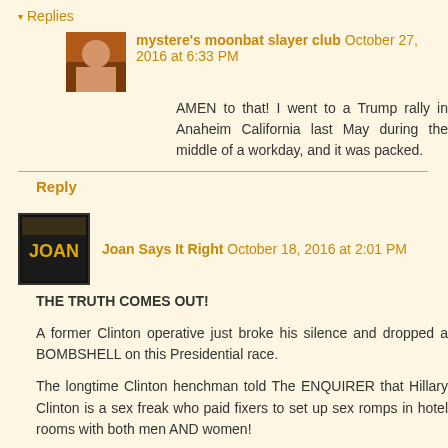▾ Replies
mystere's moonbat slayer club October 27, 2016 at 6:33 PM
AMEN to that! I went to a Trump rally in Anaheim California last May during the middle of a workday, and it was packed.
Reply
Joan Says It Right October 18, 2016 at 2:01 PM
THE TRUTH COMES OUT!
A former Clinton operative just broke his silence and dropped a BOMBSHELL on this Presidential race.
The longtime Clinton henchman told The ENQUIRER that Hillary Clinton is a sex freak who paid fixers to set up sex romps in hotel rooms with both men AND women!
Reply